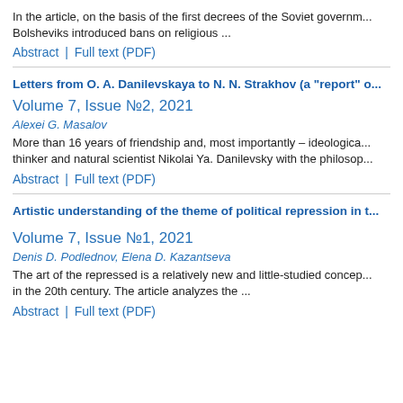In the article, on the basis of the first decrees of the Soviet governm... Bolsheviks introduced bans on religious ...
Abstract | Full text (PDF)
Letters from O. A. Danilevskaya to N. N. Strakhov (a "report" o...
Volume 7, Issue №2, 2021
Alexei G. Masalov
More than 16 years of friendship and, most importantly – ideologica... thinker and natural scientist Nikolai Ya. Danilevsky with the philosop...
Abstract | Full text (PDF)
Artistic understanding of the theme of political repression in t...
Volume 7, Issue №1, 2021
Denis D. Podlednov, Elena D. Kazantseva
The art of the repressed is a relatively new and little-studied concep... in the 20th century. The article analyzes the ...
Abstract | Full text (PDF)